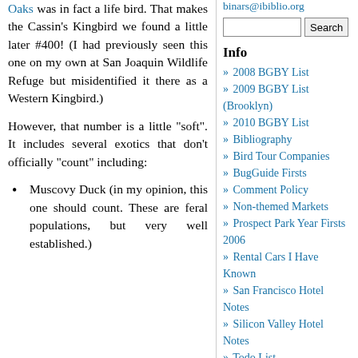Oaks was in fact a life bird. That makes the Cassin's Kingbird we found a little later #400! (I had previously seen this one on my own at San Joaquin Wildlife Refuge but misidentified it there as a Western Kingbird.)
However, that number is a little "soft". It includes several exotics that don't officially "count" including:
Muscovy Duck (in my opinion, this one should count. These are feral populations, but very well established.)
binars@ibiblio.org
Search
Info
2008 BGBY List
2009 BGBY List (Brooklyn)
2010 BGBY List
Bibliography
Bird Tour Companies
BugGuide Firsts
Comment Policy
Non-themed Markets
Prospect Park Year Firsts 2006
Rental Cars I Have Known
San Francisco Hotel Notes
Silicon Valley Hotel Notes
Todo List
Blogroll
Archives